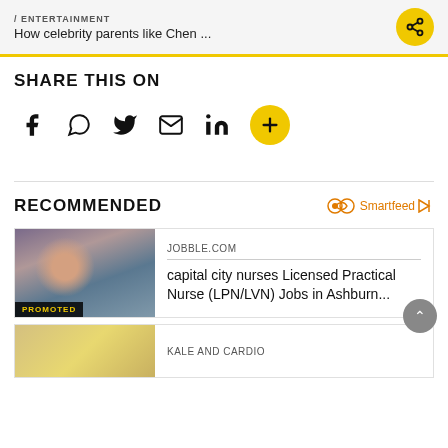/ ENTERTAINMENT — How celebrity parents like Chen ...
SHARE THIS ON
[Figure (other): Social share icons: Facebook, WhatsApp, Twitter, Email, LinkedIn, Plus button]
RECOMMENDED
Smartfeed
[Figure (photo): Promoted card: nurse smiling with patient. Source: JOBBLE.COM. Title: capital city nurses Licensed Practical Nurse (LPN/LVN) Jobs in Ashburn...]
KALE AND CARDIO